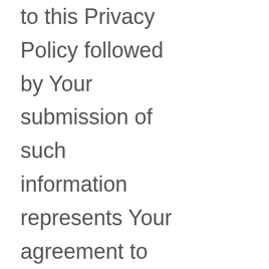to this Privacy Policy followed by Your submission of such information represents Your agreement to that transfer. The Company will take all steps reasonably necessary to ensure that Your data is